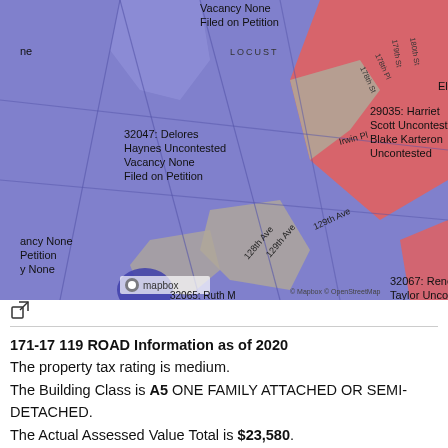[Figure (map): A colored district map showing voting precincts around 128th/129th Ave area, with blue regions labeled with candidate names (32047: Delores Haynes Uncontested Vacancy None Filed on Petition; 29035: Harriet Scott Uncontested Blake Karteron Uncontested; 32067: Renee Taylor Uncontested Carl Minor Uncontested) and red/salmon regions. Street labels include 129th Ave, 128th Ave, Irwin Pl, Locust. Map attribution: Mapbox, OpenStreetMap.]
171-17 119 ROAD Information as of 2020
The property tax rating is medium.
The Building Class is A5 ONE FAMILY ATTACHED OR SEMI-DETACHED.
The Actual Assessed Value Total is $23,580.
The Current Market Value is $393,000.
The Tax Class is 1.
The Current Taxable Total Assessed Value is $19,347.
The Actual Assessed Value Total (Values as of